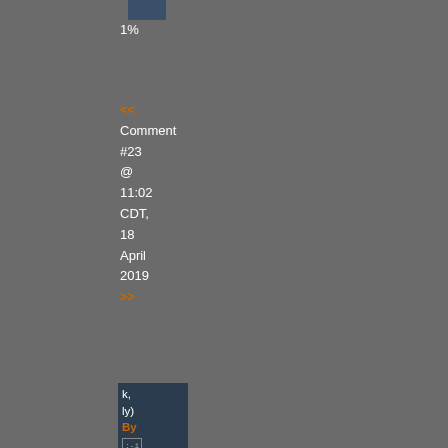1%
<< Comment #23 @ 11:02 CDT, 18 April 2019 >>
k, ly) By [icon] all - Reply to #2 N a fa of it ei B at it's no